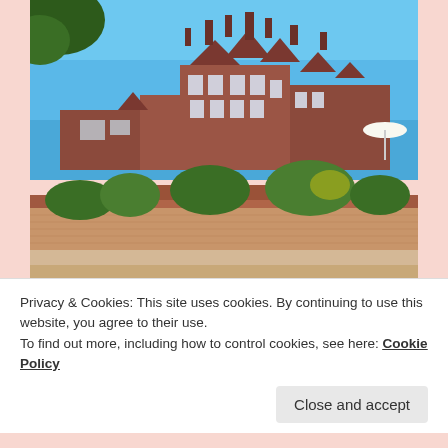[Figure (photo): A large Victorian-style red brick building with Gothic architectural elements including pointed gables, tall chimneys, and mullioned windows. The building is set against a clear blue sky, surrounded by mature gardens with brick terraced walls, gravel paths, shrubs, and trees in the foreground. A white umbrella is visible to the right side.]
Privacy & Cookies: This site uses cookies. By continuing to use this website, you agree to their use.
To find out more, including how to control cookies, see here: Cookie Policy
Close and accept